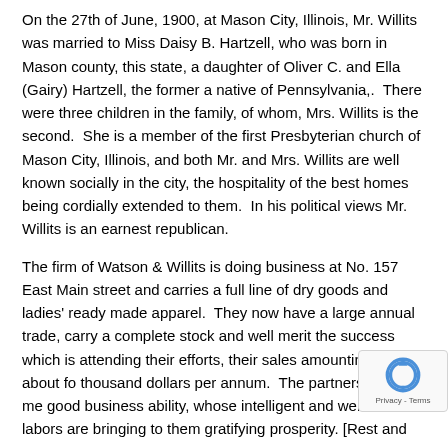On the 27th of June, 1900, at Mason City, Illinois, Mr. Willits was married to Miss Daisy B. Hartzell, who was born in Mason county, this state, a daughter of Oliver C. and Ella (Gairy) Hartzell, the former a native of Pennsylvania,.  There were three children in the family, of whom, Mrs. Willits is the second.  She is a member of the first Presbyterian church of Mason City, Illinois, and both Mr. and Mrs. Willits are well known socially in the city, the hospitality of the best homes being cordially extended to them.  In his political views Mr. Willits is an earnest republican.
The firm of Watson & Willits is doing business at No. 157 East Main street and carries a full line of dry goods and ladies' ready made apparel.  They now have a large annual trade, carry a complete stock and well merit the success which is attending their efforts, their sales amounting to about fo thousand dollars per annum.  The partners are both me good business ability, whose intelligent and well directe labors are bringing to them gratifying prosperity. [Rest and